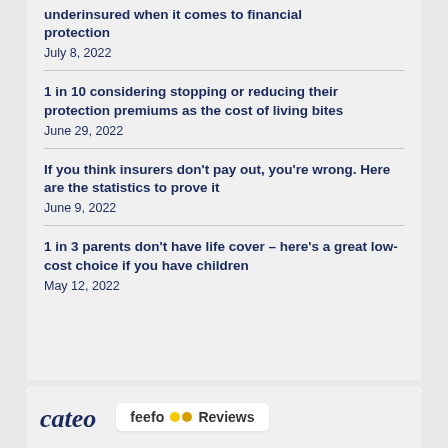underinsured when it comes to financial protection
July 8, 2022
1 in 10 considering stopping or reducing their protection premiums as the cost of living bites
June 29, 2022
If you think insurers don't pay out, you're wrong. Here are the statistics to prove it
June 9, 2022
1 in 3 parents don't have life cover – here's a great low-cost choice if you have children
May 12, 2022
[Figure (logo): Catego logo (partial, italic script) alongside Feefo Reviews badge with two yellow circles]